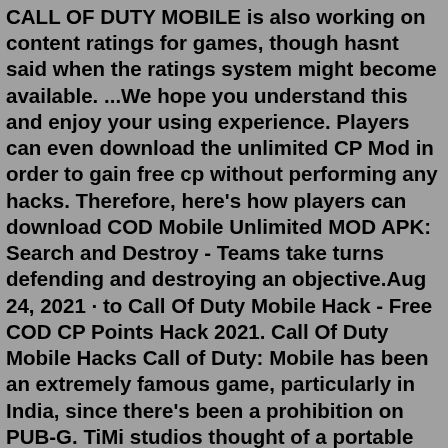CALL OF DUTY MOBILE is also working on content ratings for games, though hasnt said when the ratings system might become available. ...We hope you understand this and enjoy your using experience. Players can even download the unlimited CP Mod in order to gain free cp without performing any hacks. Therefore, here's how players can download COD Mobile Unlimited MOD APK: Search and Destroy - Teams take turns defending and destroying an objective.Aug 24, 2021 · to Call Of Duty Mobile Hack - Free COD CP Points Hack 2021. Call Of Duty Mobile Hacks Call of Duty: Mobile has been an extremely famous game, particularly in India, since there's been a prohibition on PUB-G. TiMi studios thought of a portable form in 2019, and inside a half year, the game produced an income of almost $327 million in the US alone. All groups and messages ... ...Step 2: Install the Game. Step 3: Play the Game. EmulatorPC, is developed and powered by a Patented Android Wrapping Technology, built for the PC environment, unlike other emulators in the market